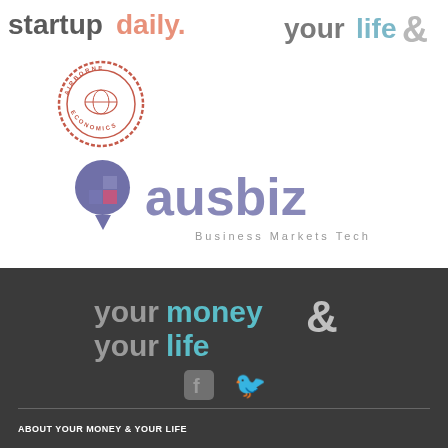[Figure (logo): startup daily logo in grey and salmon/coral color]
[Figure (logo): your life & logo in grey and light blue]
[Figure (logo): Airborne Economics circular stamp logo in red/terracotta]
[Figure (logo): ausbiz logo with purple speech bubble icon and purple text, tagline Business Markets Tech]
[Figure (logo): your money your life & logo in grey and teal on dark background]
[Figure (logo): Facebook and Twitter social media icons]
ABOUT YOUR MONEY & YOUR LIFE